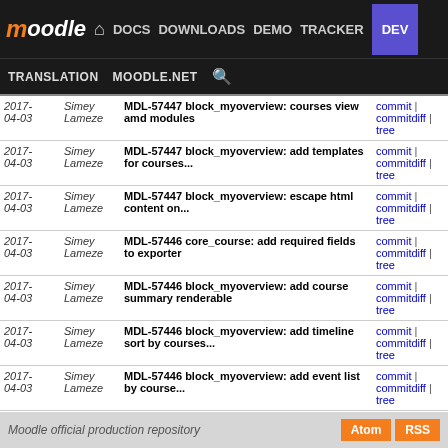moodle | DOCS DOWNLOADS DEMO TRACKER DEV | TRANSLATION MOODLE.NET
| Date | Author | Commit Message | Links |
| --- | --- | --- | --- |
| 2017-04-03 | Simey Lameze | MDL-57447 block_myoverview: courses view amd modules | commit | commitdiff | tree |
| 2017-04-03 | Simey Lameze | MDL-57447 block_myoverview: add templates for courses... | commit | commitdiff | tree |
| 2017-04-03 | Simey Lameze | MDL-57447 block_myoverview: escape html content on... | commit | commitdiff | tree |
| 2017-04-03 | Simey Lameze | MDL-57446 core_course: add required fields to exporter | commit | commitdiff | tree |
| 2017-04-03 | Simey Lameze | MDL-57446 block_myoverview: add course summary renderable | commit | commitdiff | tree |
| 2017-04-03 | Simey Lameze | MDL-57446 block_myoverview: add timeline sort by courses... | commit | commitdiff | tree |
| 2017-04-03 | Simey Lameze | MDL-57446 block_myoverview: add event list by course... | commit | commitdiff | tree |
| 2017-04-03 | Simey Lameze | MDL-57446 block_myoverview: make event list module... | commit | commitdiff | tree |
next
Moodle official production repository | Atom | RSS